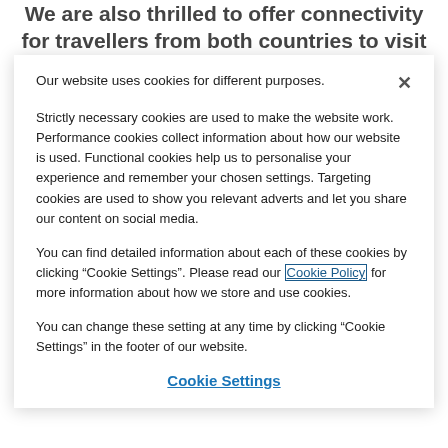We are also thrilled to offer connectivity for travellers from both countries to visit our home the UAE over the coming months. With the world's greatest Expo 2020
Our website uses cookies for different purposes.
Strictly necessary cookies are used to make the website work. Performance cookies collect information about how our website is used. Functional cookies help us to personalise your experience and remember your chosen settings. Targeting cookies are used to show you relevant adverts and let you share our content on social media.
You can find detailed information about each of these cookies by clicking “Cookie Settings”. Please read our Cookie Policy for more information about how we store and use cookies.
You can change these setting at any time by clicking “Cookie Settings” in the footer of our website.
Cookie Settings